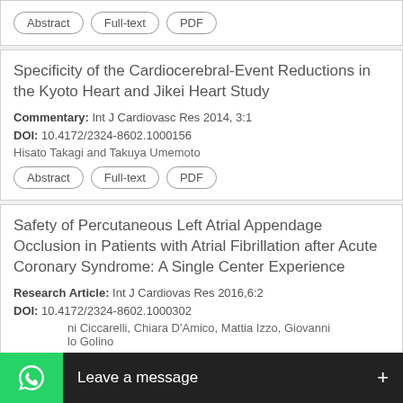Abstract | Full-text | PDF
Specificity of the Cardiocerebral-Event Reductions in the Kyoto Heart and Jikei Heart Study
Commentary: Int J Cardiovasc Res 2014, 3:1
DOI: 10.4172/2324-8602.1000156
Hisato Takagi and Takuya Umemoto
Abstract | Full-text | PDF
Safety of Percutaneous Left Atrial Appendage Occlusion in Patients with Atrial Fibrillation after Acute Coronary Syndrome: A Single Center Experience
Research Article: Int J Cardiovas Res 2016,6:2
DOI: 10.4172/2324-8602.1000302
…ani Ciccarelli, Chiara D'Amico, Mattia Izzo, Giovanni …lo Golino